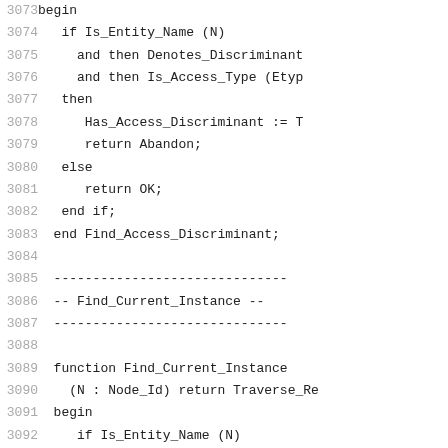Code listing lines 3073-3094 showing Ada source code for Find_Access_Discriminant and Find_Current_Instance functions